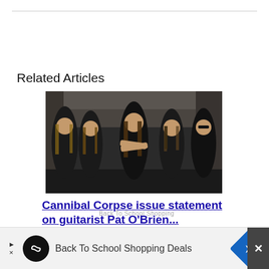Related Articles
[Figure (photo): Five members of Cannibal Corpse standing in front of a concrete underpass structure, all wearing black t-shirts, long hair, dark clothing]
Cannibal Corpse issue statement on guitarist Pat O'Brien...
[Figure (infographic): Advertisement bar: Back To School Shopping Deals with circular logo and blue diamond navigation icon]